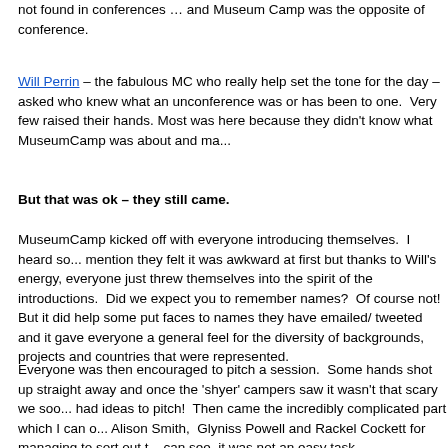not found in conferences … and Museum Camp was the opposite of conference.
Will Perrin – the fabulous MC who really help set the tone for the day – asked who knew what an unconference was or has been to one. Very few raised their hands. Most was here because they didn't know what MuseumCamp was about and many...
But that was ok – they still came.
MuseumCamp kicked off with everyone introducing themselves. I heard some mention they felt it was awkward at first but thanks to Will's energy, everyone just threw themselves into the spirit of the introductions. Did we expect you to remember names? Of course not! But it did help some put faces to names they have emailed/ tweeted and it gave everyone a general feel for the diversity of backgrounds, projects and countries that were represented.
Everyone was then encouraged to pitch a session. Some hands shot up straight away and once the 'shyer' campers saw it wasn't that scary we soon had ideas to pitch! Then came the incredibly complicated part which I can only... Alison Smith, Glyniss Powell and Rackel Cockett for managing to sort out the... can see, it was not an easy task.